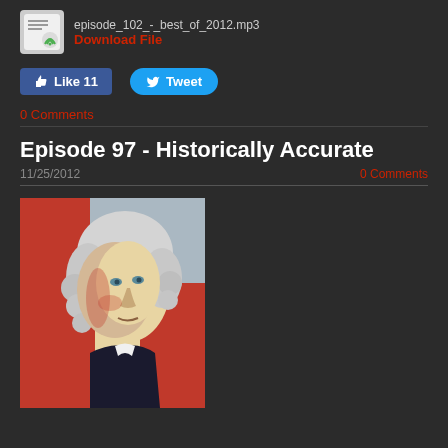episode_102_-_best_of_2012.mp3
Download File
[Figure (other): Facebook Like button showing 11 likes]
[Figure (other): Twitter Tweet button]
0 Comments
Episode 97 - Historically Accurate
11/25/2012
0 Comments
[Figure (illustration): Obama Hope poster style illustration of George Washington in red, beige, and blue colors]